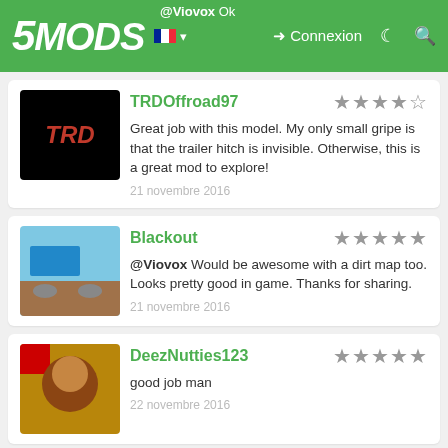@Viovox Ok — 5MODS navigation bar with Connexion link
TRDOffroad97
Great job with this model. My only small gripe is that the trailer hitch is invisible. Otherwise, this is a great mod to explore!
21 novembre 2016
Blackout
@Viovox Would be awesome with a dirt map too. Looks pretty good in game. Thanks for sharing.
21 novembre 2016
DeezNutties123
good job man
22 novembre 2016
Viovox Auteur
Thanks for all the positive comments guys :)